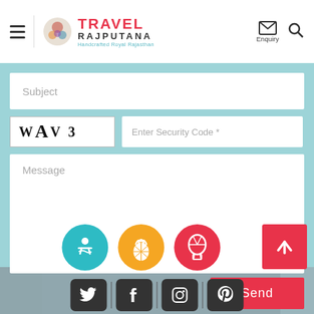[Figure (screenshot): Travel Rajputana website header with hamburger menu, logo, enquiry icon and search icon]
Subject
[Figure (other): CAPTCHA image showing text: WAV 3]
Enter Security Code *
Message
Send
[Figure (other): Three circular social icons: teal relaxing figure, yellow pineapple, red hot air balloon, and red up arrow button]
[Figure (other): Social media icons row: Twitter, Facebook, Instagram, Pinterest]